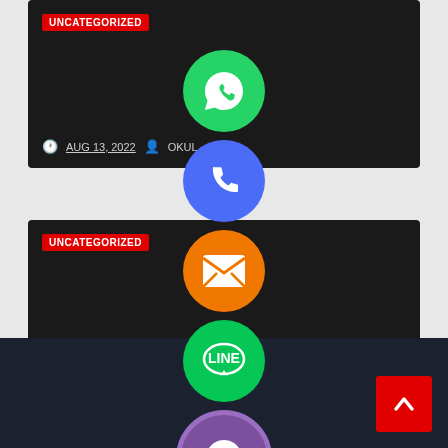[Figure (screenshot): Dark card with UNCATEGORIZED badge in red, date AUG 13, 2022 and author OKUL at bottom]
UNCATEGORIZED
AUG 13, 2022
OKUL
[Figure (screenshot): Second dark card with UNCATEGORIZED badge in red, date AUG 13, 2022 and author OKUL at bottom]
UNCATEGORIZED
AUG 13, 2022
OKUL
[Figure (infographic): Vertical stack of social media contact icons: WhatsApp (green), Phone (blue), Email (orange), LINE (green), Viber (purple), Close/X button (green). Overlaid across both dark cards and footer.]
[Figure (other): Red back-to-top button with upward chevron arrow, bottom-right corner]